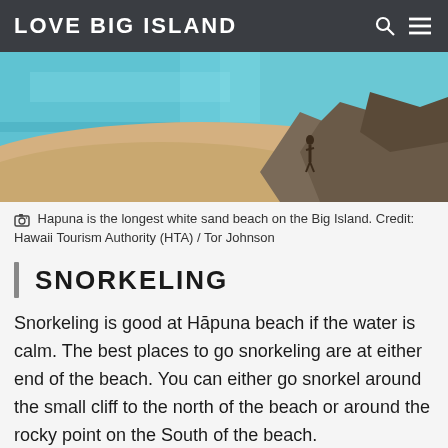LOVE BIG ISLAND
[Figure (photo): Aerial view of Hapuna Beach showing turquoise water, white sand, a person standing near rocky cliffs on the right side of the beach, Big Island Hawaii.]
📷 Hapuna is the longest white sand beach on the Big Island. Credit: Hawaii Tourism Authority (HTA) / Tor Johnson
SNORKELING
Snorkeling is good at Hāpuna beach if the water is calm. The best places to go snorkeling are at either end of the beach. You can either go snorkel around the small cliff to the north of the beach or around the rocky point on the South of the beach.